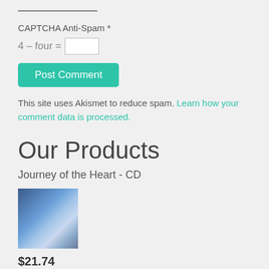CAPTCHA Anti-Spam *
4 – four = [input]
Post Comment
This site uses Akismet to reduce spam. Learn how your comment data is processed.
Our Products
Journey of the Heart - CD
[Figure (photo): CD product image showing Journey of the Heart album cover with blue tones]
$21.74
Add To Cart